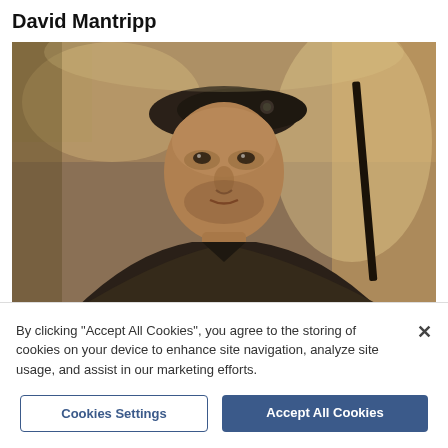David Mantripp
[Figure (photo): Sepia-toned photograph of a man wearing a military beret and combat uniform, looking directly at the camera, with trees in the background.]
By clicking "Accept All Cookies", you agree to the storing of cookies on your device to enhance site navigation, analyze site usage, and assist in our marketing efforts.
Cookies Settings
Accept All Cookies